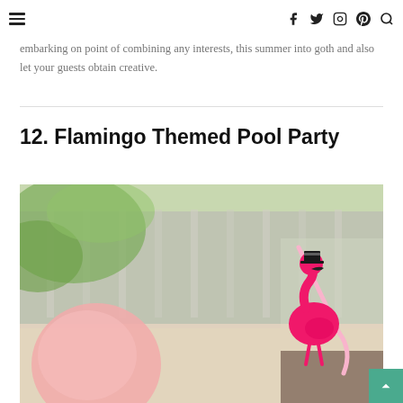≡  f  𝕏  ⊙  𝗣  🔍
embarking on point of combining any interests, this summer into goth and also let your guests obtain creative.
12. Flamingo Themed Pool Party
[Figure (photo): A photo showing a bright pink flamingo drink stirrer/straw decoration against a blurred outdoor background with green foliage and a wooden fence, with pink balloons in the foreground.]